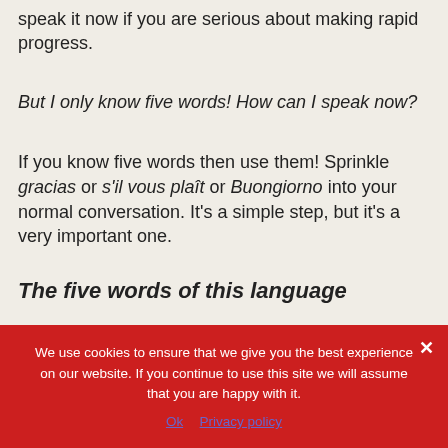speak it now if you are serious about making rapid progress.
But I only know five words! How can I speak now?
If you know five words then use them! Sprinkle gracias or s'il vous plaît or Buongiorno into your normal conversation. It's a simple step, but it's a very important one.
[partial text cut off at bottom]
We use cookies to ensure that we give you the best experience on our website. If you continue to use this site we will assume that you are happy with it.
Ok   Privacy policy